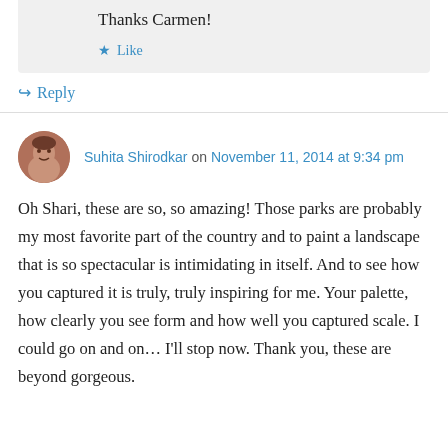Thanks Carmen!
★ Like
↳ Reply
Suhita Shirodkar on November 11, 2014 at 9:34 pm
Oh Shari, these are so, so amazing! Those parks are probably my most favorite part of the country and to paint a landscape that is so spectacular is intimidating in itself. And to see how you captured it is truly, truly inspiring for me. Your palette, how clearly you see form and how well you captured scale. I could go on and on… I'll stop now. Thank you, these are beyond gorgeous.